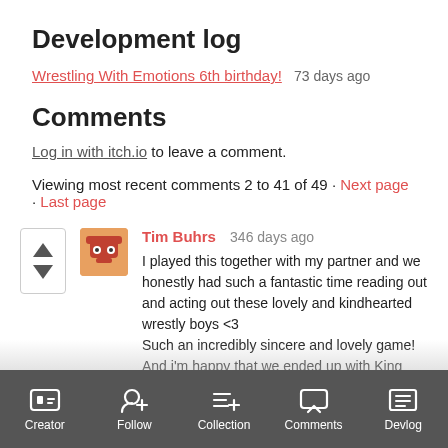Development log
Wrestling With Emotions 6th birthday!   73 days ago
Comments
Log in with itch.io to leave a comment.
Viewing most recent comments 2 to 41 of 49 · Next page · Last page
Tim Buhrs   346 days ago
I played this together with my partner and we honestly had such a fantastic time reading out and acting out these lovely and kindhearted wrestly boys <3
Such an incredibly sincere and lovely game! And i'm happy that we ended up with King Pretty Guy as our new partner🤼!
Creator   Follow   Collection   Comments   Devlog